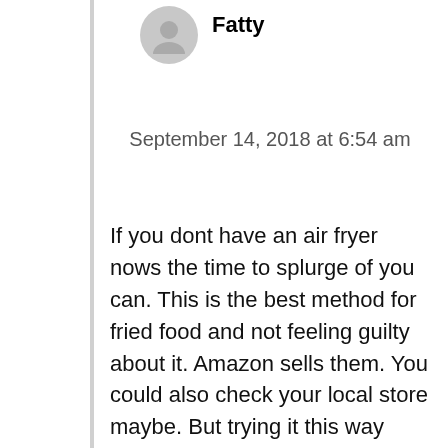Fatty
September 14, 2018 at 6:54 am
If you dont have an air fryer nows the time to splurge of you can. This is the best method for fried food and not feeling guilty about it. Amazon sells them. You could also check your local store maybe. But trying it this way youll never need to use oil again.
REPLY
dana